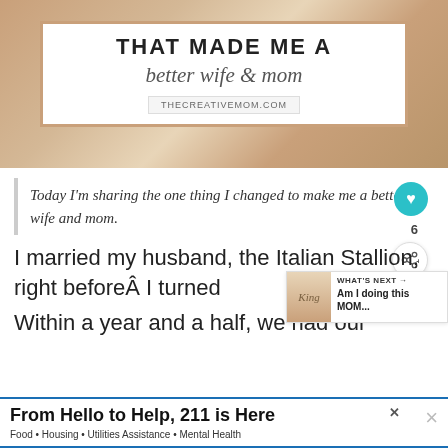[Figure (photo): Blog post header image showing a decorative card with text 'THAT MADE ME A better wife & mom' and URL thecreativemom.com, on a warm brown/tan background]
Today I'm sharing the one thing I changed to make me a better wife and mom.
I married my husband, the Italian Stallion, right before I turned
Within a year and a half, we had our
[Figure (screenshot): WHAT'S NEXT advertisement box: 'Am I doing this MOM...']
From Hello to Help, 211 is Here
Food • Housing • Utilities Assistance • Mental Health